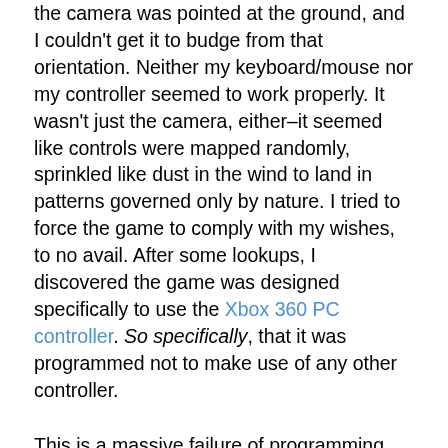the camera was pointed at the ground, and I couldn't get it to budge from that orientation. Neither my keyboard/mouse nor my controller seemed to work properly. It wasn't just the camera, either–it seemed like controls were mapped randomly, sprinkled like dust in the wind to land in patterns governed only by nature. I tried to force the game to comply with my wishes, to no avail. After some lookups, I discovered the game was designed specifically to use the Xbox 360 PC controller. So specifically, that it was programmed not to make use of any other controller.
This is a massive failure of programming. I'm not even sure this is a failure, per se. This is something that takes actual effort to do. One has to actually program the game to refuse other controllers for this tactic to work. I imagine the effort involved to enable general support would be significantly less than that which was consumed to make it only use the X360 controller. I found numerous solutions for using my controller, most of